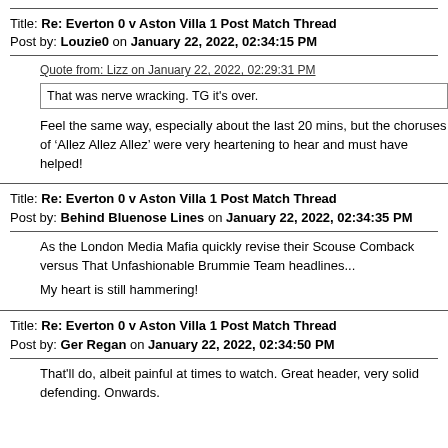Title: Re: Everton 0 v Aston Villa 1 Post Match Thread
Post by: Louzie0 on January 22, 2022, 02:34:15 PM
Quote from: Lizz on January 22, 2022, 02:29:31 PM
That was nerve wracking. TG it's over.
Feel the same way, especially about the last 20 mins, but the choruses of ‘Allez Allez Allez’ were very heartening to hear and must have helped!
Title: Re: Everton 0 v Aston Villa 1 Post Match Thread
Post by: Behind Bluenose Lines on January 22, 2022, 02:34:35 PM
As the London Media Mafia quickly revise their Scouse Comback versus That Unfashionable Brummie Team headlines...

My heart is still hammering!
Title: Re: Everton 0 v Aston Villa 1 Post Match Thread
Post by: Ger Regan on January 22, 2022, 02:34:50 PM
That'll do, albeit painful at times to watch. Great header, very solid defending. Onwards.